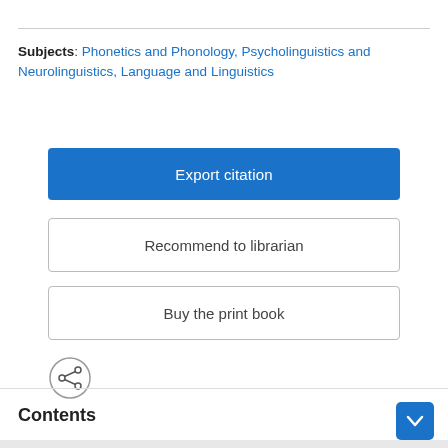Subjects: Phonetics and Phonology, Psycholinguistics and Neurolinguistics, Language and Linguistics
Export citation
Recommend to librarian
Buy the print book
Contents